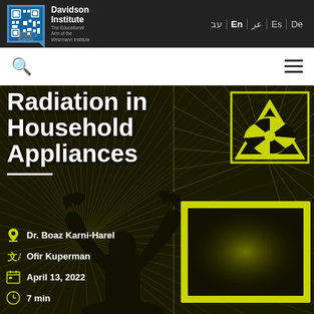[Figure (logo): Davidson Institute / Weizmann Institute of Science logo in top navigation bar]
עב | En | عر | Es | De
[Figure (screenshot): Search icon and hamburger menu navigation bar]
Radiation in Household Appliances
Dr. Boaz Karni-Harel
Ofir Kuperman
April 13, 2022
7 min